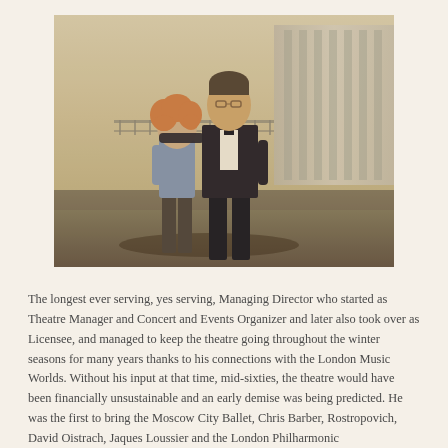[Figure (photo): Vintage photograph of two people standing outdoors in front of a building with large windows. A woman with curly hair on the left and a taller man in a dark suit on the right with his arm around her. The photo has a warm, sepia-toned quality typical of mid-20th century photography.]
The longest ever serving, yes serving, Managing Director who started as Theatre Manager and Concert and Events Organizer and later also took over as Licensee, and managed to keep the theatre going throughout the winter seasons for many years thanks to his connections with the London Music Worlds. Without his input at that time, mid-sixties, the theatre would have been financially unsustainable and an early demise was being predicted. He was the first to bring the Moscow City Ballet, Chris Barber, Rostropovich, David Oistrach, Jaques Loussier and the London Philharmonic